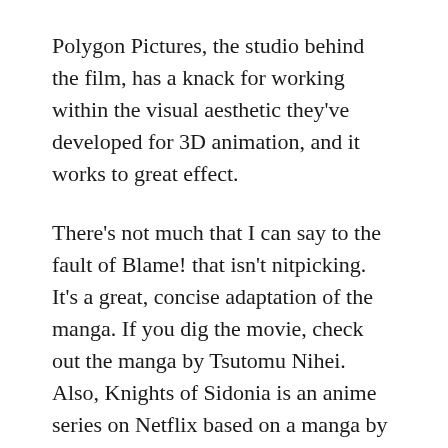Polygon Pictures, the studio behind the film, has a knack for working within the visual aesthetic they've developed for 3D animation, and it works to great effect.
There's not much that I can say to the fault of Blame! that isn't nitpicking. It's a great, concise adaptation of the manga. If you dig the movie, check out the manga by Tsutomu Nihei. Also, Knights of Sidonia is an anime series on Netflix based on a manga by the same author, which is worth watching.
I watched the movie with Japanese voices and English subtitles.